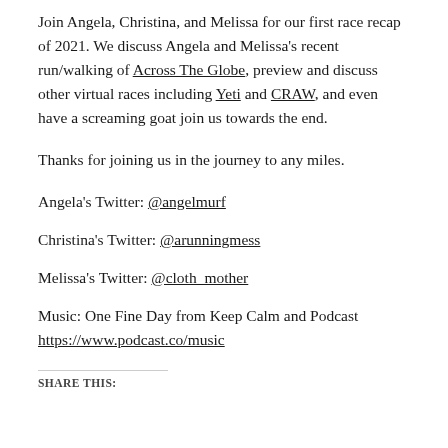Join Angela, Christina, and Melissa for our first race recap of 2021. We discuss Angela and Melissa's recent run/walking of Across The Globe, preview and discuss other virtual races including Yeti and CRAW, and even have a screaming goat join us towards the end.
Thanks for joining us in the journey to any miles.
Angela's Twitter: @angelmurf
Christina's Twitter: @arunningmess
Melissa's Twitter: @cloth_mother
Music: One Fine Day from Keep Calm and Podcast https://www.podcast.co/music
SHARE THIS: